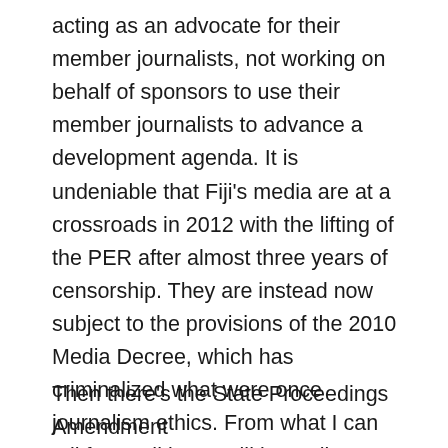acting as an advocate for their member journalists, not working on behalf of sponsors to use their member journalists to advance a development agenda. It is undeniable that Fiji's media are at a crossroads in 2012 with the lifting of the PER after almost three years of censorship. They are instead now subject to the provisions of the 2010 Media Decree, which has criminalized what were once journalism ethics. From what I can tell from talking to Fiji journalists, there is a tremendous climate of fear and uncertainty in advance of the first rulings from the new Media Authority. What do journalists need to know to stay out of jail and avoid being fined?
Then there's the State Proceedings Amendment...